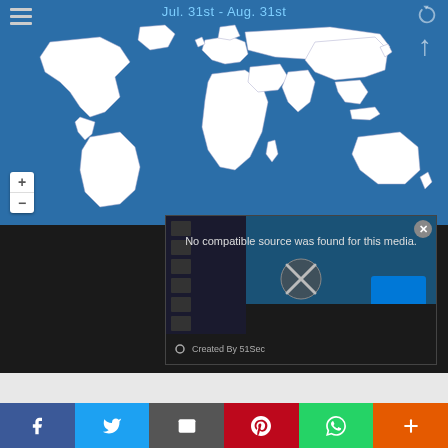Jul. 31st - Aug. 31st
[Figure (map): Interactive world map with blue ocean background and white country outlines, showing zoom controls (+/-) at bottom left and an up arrow at top right. Date range shown: Jul. 31st - Aug. 31st. A hamburger menu icon is at top left.]
[Figure (screenshot): Video player overlay showing error message: 'No compatible source was found for this media.' with an X icon. Below shows 'Created By 51Sec' text. Background shows a Windows 10 desktop screenshot.]
No compatible source was found for this media.
Created By 51Sec
[Figure (other): Social share bar with Facebook (blue), Twitter (light blue), Email (grey), Pinterest (red), WhatsApp (green), and More (+) (orange) buttons.]